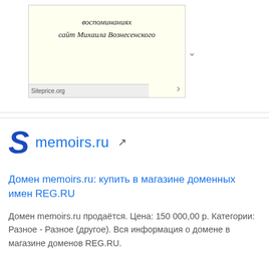[Figure (screenshot): Screenshot thumbnail of a website with Russian text in italic serif font: 'воспоминаниях сайт Михаила Вознесенского', with Siteprice.org label at bottom]
memoirs.ru
Домен memoirs.ru: купить в магазине доменных имен REG.RU
Домен memoirs.ru продаётся. Цена: 150 000,00 р. Категории: Разное - Разное (другое). Вся информация о домене в магазине доменов REG.RU.
Daily Traffic: 9,500  Website Worth: $ 104,800
[Figure (photo): Group photo of four people (two men, two women) against a dark background]